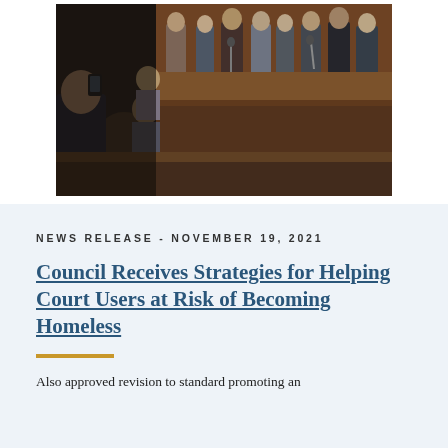[Figure (photo): Council chamber scene with people seated, some taking photos, at a government/judicial council meeting. Officials at the dais in the background.]
NEWS RELEASE - NOVEMBER 19, 2021
Council Receives Strategies for Helping Court Users at Risk of Becoming Homeless
Also approved revision to standard promoting an